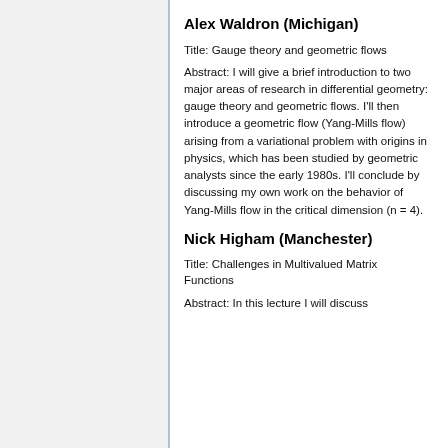Alex Waldron (Michigan)
Title: Gauge theory and geometric flows
Abstract: I will give a brief introduction to two major areas of research in differential geometry: gauge theory and geometric flows. I'll then introduce a geometric flow (Yang-Mills flow) arising from a variational problem with origins in physics, which has been studied by geometric analysts since the early 1980s. I'll conclude by discussing my own work on the behavior of Yang-Mills flow in the critical dimension (n = 4).
Nick Higham (Manchester)
Title: Challenges in Multivalued Matrix Functions
Abstract: In this lecture I will discuss